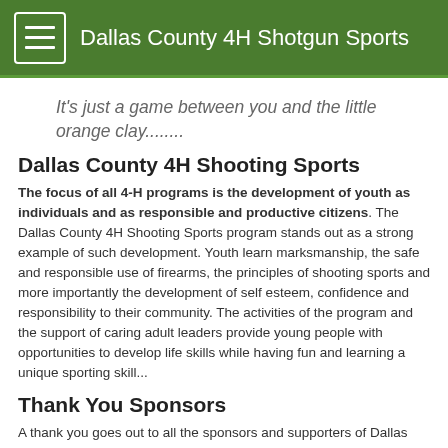Dallas County 4H Shotgun Sports
It's just a game between you and the little orange clay........
Dallas County 4H Shooting Sports
The focus of all 4-H programs is the development of youth as individuals and as responsible and productive citizens. The Dallas County 4H Shooting Sports program stands out as a strong example of such development. Youth learn marksmanship, the safe and responsible use of firearms, the principles of shooting sports and more importantly the development of self esteem, confidence and responsibility to their community. The activities of the program and the support of caring adult leaders provide young people with opportunities to develop life skills while having fun and learning a unique sporting skill...
Thank You Sponsors
A thank you goes out to all the sponsors and supporters of Dallas